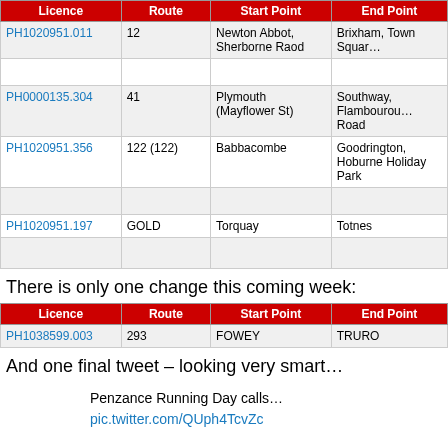| Licence | Route | Start Point | End Point |
| --- | --- | --- | --- |
| PH1020951.011 | 12 | Newton Abbot, Sherborne Raod | Brixham, Town Square |
| PH0000135.304 | 41 | Plymouth (Mayflower St) | Southway, Flamborough Road |
| PH1020951.356 | 122 (122) | Babbacombe | Goodrington, Hoburne Holiday Park |
| PH1020951.197 | GOLD | Torquay | Totnes |
There is only one change this coming week:
| Licence | Route | Start Point | End Point |
| --- | --- | --- | --- |
| PH1038599.003 | 293 | FOWEY | TRURO |
And one final tweet – looking very smart…
Penzance Running Day calls…
pic.twitter.com/QUph4TcvZc